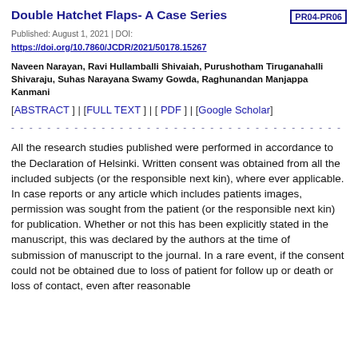Double Hatchet Flaps- A Case Series PR04-PR06
Published: August 1, 2021 | DOI: https://doi.org/10.7860/JCDR/2021/50178.15267
Naveen Narayan, Ravi Hullamballi Shivaiah, Purushotham Tiruganahalli Shivaraju, Suhas Narayana Swamy Gowda, Raghunandan Manjappa Kanmani
[ABSTRACT ] | [FULL TEXT ] | [ PDF ] | [Google Scholar]
- - - - - - - - - - - - - - - - - - - - - - - - - - - - - - - - - - - - -
All the research studies published were performed in accordance to the Declaration of Helsinki. Written consent was obtained from all the included subjects (or the responsible next kin), where ever applicable. In case reports or any article which includes patients images, permission was sought from the patient (or the responsible next kin) for publication. Whether or not this has been explicitly stated in the manuscript, this was declared by the authors at the time of submission of manuscript to the journal. In a rare event, if the consent could not be obtained due to loss of patient for follow up or death or loss of contact, even after reasonable